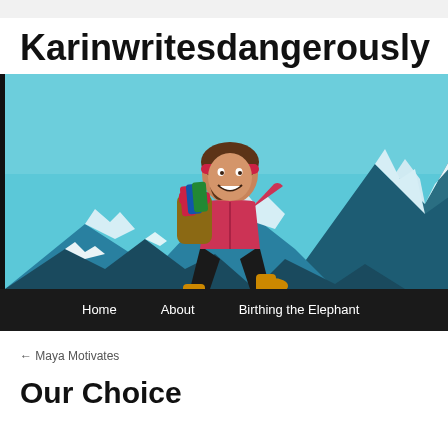Karinwritesdangerously
[Figure (illustration): Cartoon illustration of a woman with a red headband, pink jacket, black pants, and yellow boots carrying a backpack with books, leaping over snowy mountain peaks on a blue sky background. Navigation bar below with Home, About, Birthing the Elephant links.]
← Maya Motivates
Our Choice